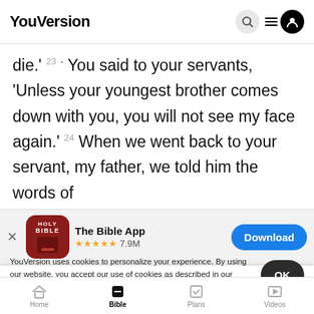YouVersion
die.' ²³ You said to your servants, ‘Unless your youngest brother comes down with you, you will not see my face again.’ 24 When we went back to your servant, my father, we told him the words of
[Figure (screenshot): The Bible App download banner showing HOLY BIBLE icon, star rating 7.9M, and Download button]
bod ··· we said, ‘we cannot go down’
younge
for we may not see the man’s face, unless our
YouVersion uses cookies to personalize your experience. By using our website, you accept our use of cookies as described in our Privacy Policy.
Home | Bible | Plans | Videos